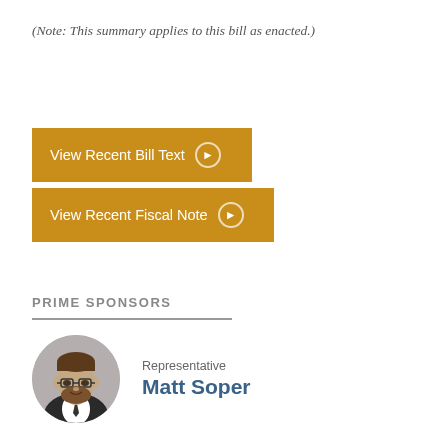(Note: This summary applies to this bill as enacted.)
[Figure (other): Orange button: View Recent Bill Text with right-arrow icon]
[Figure (other): Orange button: View Recent Fiscal Note with right-arrow icon]
PRIME SPONSORS
[Figure (photo): Circular headshot photo of Representative Matt Soper, a man with glasses and a beard wearing a suit]
Representative
Matt Soper